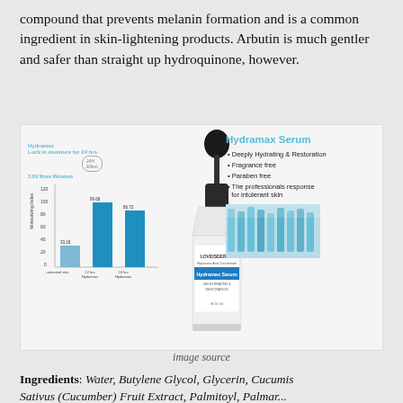compound that prevents melanin formation and is a common ingredient in skin-lightening products. Arbutin is much gentler and safer than straight up hydroquinone, however.
[Figure (photo): Product image of Loveisderma Hydramax Serum bottle with dropper, alongside a bar chart showing Hydramax moisture index data (Untreated skin: 33.18, 12hr Hydramax: 99.68, 24hr Hydramax: 86.72), and product info panel listing features: Deeply Hydrating & Restoration, Fragrance free, Paraben free, The professionals response for intolerant skin, with a close-up photo of lab equipment.]
image source
Ingredients: Water, Butylene Glycol, Glycerin, Cucumis Sativus (Cucumber) Fruit Extract, Palmitoyl, Palmar...